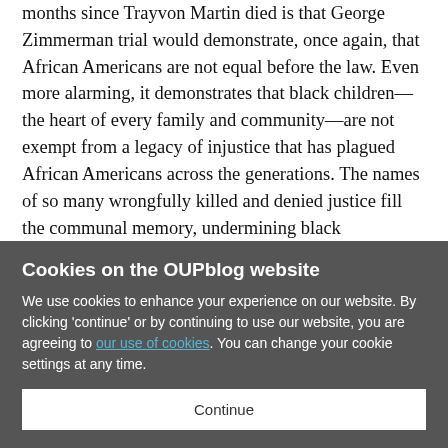months since Trayvon Martin died is that George Zimmerman trial would demonstrate, once again, that African Americans are not equal before the law. Even more alarming, it demonstrates that black children—the heart of every family and community—are not exempt from a legacy of injustice that has plagued African Americans across the generations. The names of so many wrongfully killed and denied justice fill the communal memory, undermining black confidence in the criminal justice system. Seventeen-year-old Eugene Williams drowned on 27 July 1919 in Chicago after whites assaulted him with rocks and police charged an
Cookies on the OUPblog website
We use cookies to enhance your experience on our website. By clicking 'continue' or by continuing to use our website, you are agreeing to our use of cookies. You can change your cookie settings at any time.
Continue